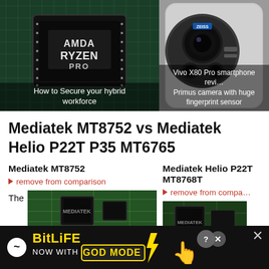[Figure (photo): AMD Ryzen Pro processor chip close-up photo with caption 'How to Secure your hybrid workforce']
[Figure (photo): Vivo X80 Pro smartphone back showing camera module with caption 'Vivo X80 Pro smartphone review: Primus camera with huge fingerprint sensor']
Mediatek MT8752 vs Mediatek Helio P22T P35 MT6765
Mediatek MT8752
Mediatek Helio P22T MT8768T
remove from comparison
remove from comparison
The
[Figure (photo): Mediatek chip/circuit board close-up photo]
[Figure (photo): Mediatek circuit board close-up photo (right column)]
[Figure (other): BitLife advertisement banner: NOW WITH GOD MODE]